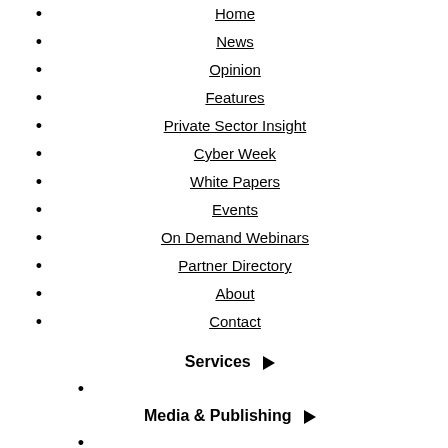Home
News
Opinion
Features
Private Sector Insight
Cyber Week
White Papers
Events
On Demand Webinars
Partner Directory
About
Contact
Services ▶
Media & Publishing ▶
About Dods ▶